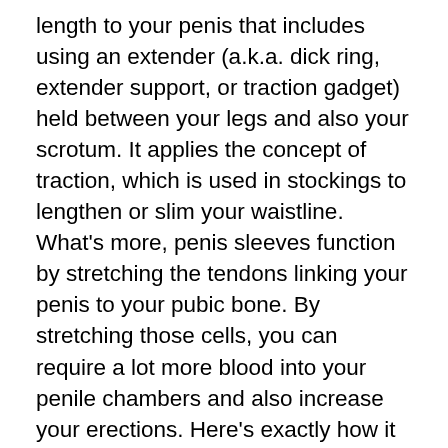length to your penis that includes using an extender (a.k.a. dick ring, extender support, or traction gadget) held between your legs and also your scrotum. It applies the concept of traction, which is used in stockings to lengthen or slim your waistline. What's more, penis sleeves function by stretching the tendons linking your penis to your pubic bone. By stretching those cells, you can require a lot more blood into your penile chambers and also increase your erections. Here's exactly how it functions:
The penis extension process starts with your penis sheath. A penis sleeve is simply a piece of cloth with a thin Velcro support and flexible on the top. Freely tie one end of the